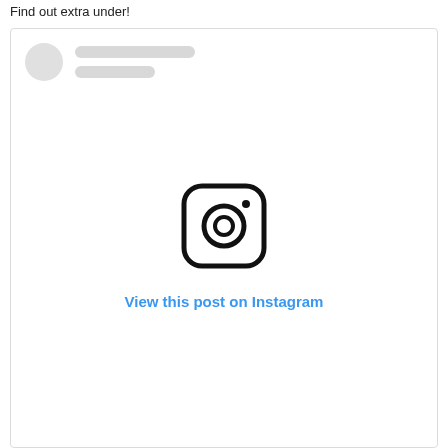Find out extra under!
[Figure (screenshot): Instagram embedded post placeholder showing avatar placeholder lines, Instagram camera logo icon, and 'View this post on Instagram' link in blue]